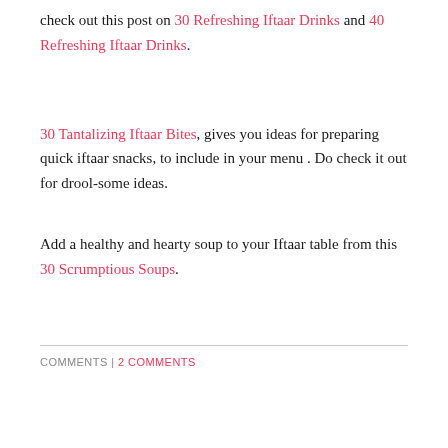check out this post on 30 Refreshing Iftaar Drinks and 40 Refreshing Iftaar Drinks.
30 Tantalizing Iftaar Bites, gives you ideas for preparing quick iftaar snacks, to include in your menu . Do check it out for drool-some ideas.
Add a healthy and hearty soup to your Iftaar table from this 30 Scrumptious Soups.
COMMENTS | 2 COMMENTS